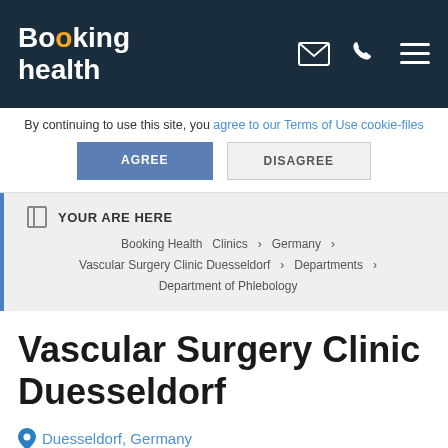Booking health
By continuing to use this site, you agree to our Terms of Use cookie-files
AGREE | DISAGREE
YOUR ARE HERE
Booking Health   Clinics ›   Germany ›
Vascular Surgery Clinic Duesseldorf ›   Departments ›
Department of Phlebology
Vascular Surgery Clinic Duesseldorf
Duesseldorf, Germany
Treatment request